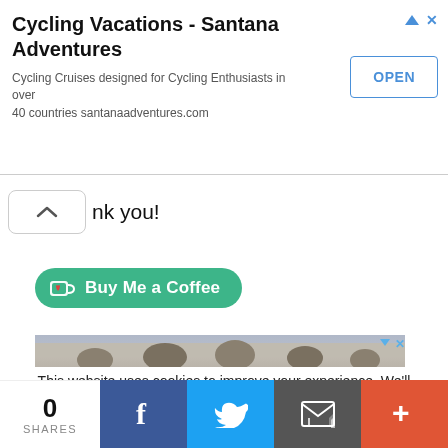[Figure (screenshot): Advertisement banner for Cycling Vacations - Santana Adventures with OPEN button]
nk you!
[Figure (screenshot): Buy Me a Coffee green button with coffee cup icon]
[Figure (photo): Advertisement banner showing classical building facade with sculptures]
This website uses cookies to improve your experience. We’ll assume you’re ok with this, but you can opt-out if you wish.
[Figure (screenshot): Social share bar with 0 SHARES, Facebook, Twitter, Email, and More buttons]